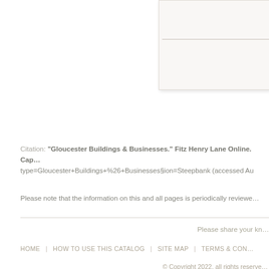[Figure (other): Partial view of a card/panel UI element with a horizontal divider line, positioned in the upper right of the page]
Citation: "Gloucester Buildings & Businesses." Fitz Henry Lane Online. Cape Ann Museum. http://www.fitzhenlane.org/index.php?type=Gloucester+Buildings+%26+Businesses§ion=Steepbank (accessed August …)
Please note that the information on this and all pages is periodically reviewed…
Please share your kn…
HOME | HOW TO USE THIS CATALOG | SITE MAP | TERMS & CON…
© Copyright 2022, all rights reserve…